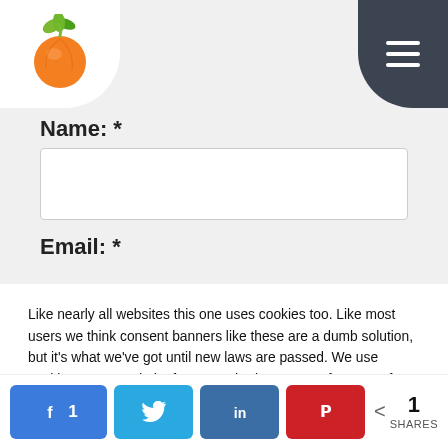[Figure (logo): Orange/fruit logo with green leaves on white rounded background, top left. Hamburger menu icon on dark grey rounded background, top right.]
Name: *
[Figure (other): Empty text input field for Name]
Email: *
Like nearly all websites this one uses cookies too. Like most users we think consent banners like these are a dumb solution, but it's what we've got until new laws are passed. We use cookies on our website for remembering your preferences, for example if you're logged in or what is in your cart. We also use 3rd party cookies for analytics so we know what pages on the site are most popular. By clicking “Accept”, you consent to the use of ALL the cookies.
Do not sell my personal information.
[Figure (other): Two buttons: grey Reject button and green Accept button]
[Figure (infographic): Social share bar with Facebook (1), Twitter, LinkedIn, Pinterest buttons and share count showing 1 SHARES]